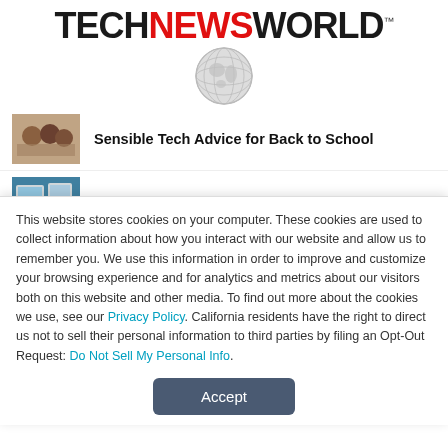[Figure (logo): TechNewsWorld logo with globe graphic. 'TECH' and 'WORLD' in black bold, 'NEWS' in red bold, with a globe illustration below.]
[Figure (photo): Thumbnail photo of students or people using tech devices, for 'Sensible Tech Advice for Back to School' article.]
Sensible Tech Advice for Back to School
[Figure (photo): Thumbnail photo related to cybersecurity article.]
Cybersecurity Pros Preach Constant ID
This website stores cookies on your computer. These cookies are used to collect information about how you interact with our website and allow us to remember you. We use this information in order to improve and customize your browsing experience and for analytics and metrics about our visitors both on this website and other media. To find out more about the cookies we use, see our Privacy Policy. California residents have the right to direct us not to sell their personal information to third parties by filing an Opt-Out Request: Do Not Sell My Personal Info.